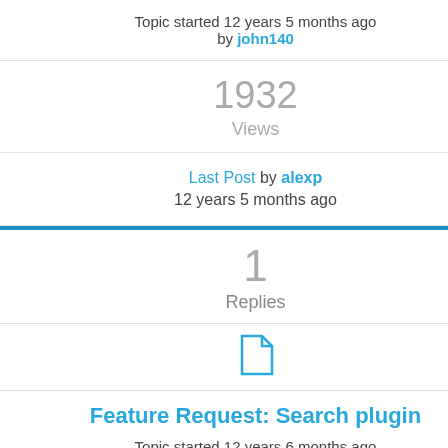Topic started 12 years 5 months ago by john140
1932 Views
Last Post by alexp 12 years 5 months ago
1 Replies
[Figure (illustration): Document/page icon in blue]
Feature Request: Search plugin Topic started 12 years 6 months ago by bianca.wirth5